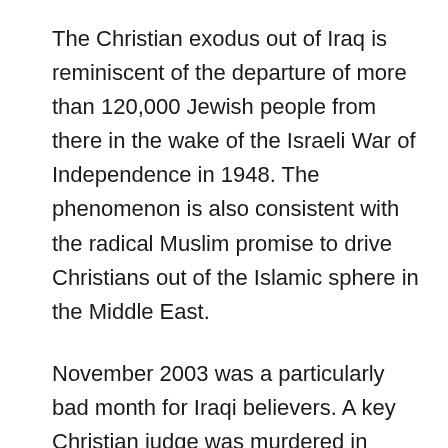The Christian exodus out of Iraq is reminiscent of the departure of more than 120,000 Jewish people from there in the wake of the Israeli War of Independence in 1948. The phenomenon is also consistent with the radical Muslim promise to drive Christians out of the Islamic sphere in the Middle East.
November 2003 was a particularly bad month for Iraqi believers. A key Christian judge was murdered in Mosul; bombs were discovered in two Christian schools, one in Mosul and the other in Baghdad; and many Christian